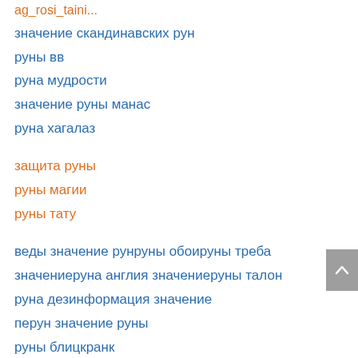ag_rosi_taini...
значение скандинавских рун
руны вв
руна мудрости
значение руны манас
руна хагалаз
защита руны
руны магии
руны тату
веды значение рунруны обоируны треба
значениеруна англия значениеруны талон
руна дезинформация значение
перун значение руны
руны блицкранк
руны вв
руна отала